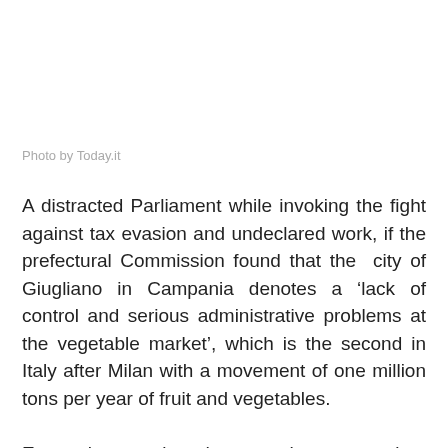Photo by Today.it
A distracted Parliament while invoking the fight against tax evasion and undeclared work, if the prefectural Commission found that the city of Giugliano in Campania denotes a ‘lack of control and serious administrative problems at the vegetable market’, which is the second in Italy after Milan with a movement of one million tons per year of fruit and vegetables.
Even plans to introduce tougher sentencing, mandatory arrest for environmental crimes, summary trials on the